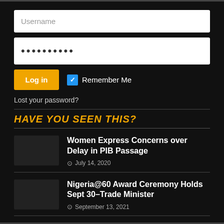[Figure (screenshot): Username text input field]
[Figure (screenshot): Password input field with dots]
[Figure (screenshot): Log In button with Remember Me checkbox]
Lost your password?
HAVE YOU SEEN THIS?
Women Express Concerns over Delay in PIB Passage
July 14, 2020
Nigeria@60 Award Ceremony Holds Sept 30–Trade Minister
September 13, 2021